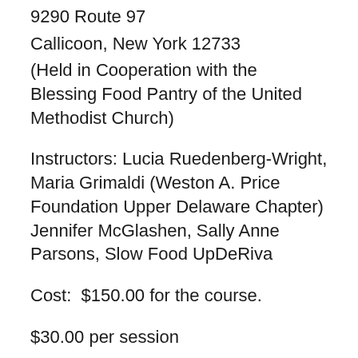9290 Route 97
Callicoon, New York 12733
(Held in Cooperation with the Blessing Food Pantry of the United Methodist Church)
Instructors: Lucia Ruedenberg-Wright, Maria Grimaldi (Weston A. Price Foundation Upper Delaware Chapter) Jennifer McGlashen, Sally Anne Parsons, Slow Food UpDeRiva
Cost:  $150.00 for the course.
$30.00 per session
Membership discount for NOFA-NY members, Weston A. Price Members and Slow Food